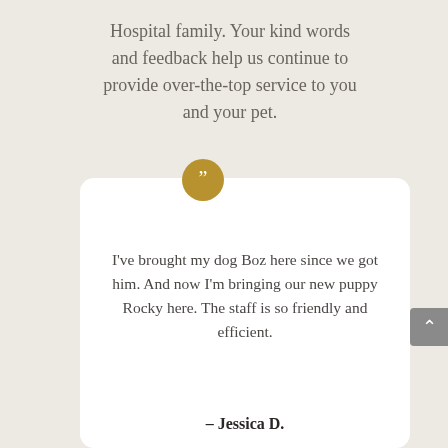Hospital family. Your kind words and feedback help us continue to provide over-the-top service to you and your pet.
[Figure (illustration): Gold/amber circle with white quotation marks icon]
I've brought my dog Boz here since we got him. And now I'm bringing our new puppy Rocky here. The staff is so friendly and efficient.
– Jessica D.